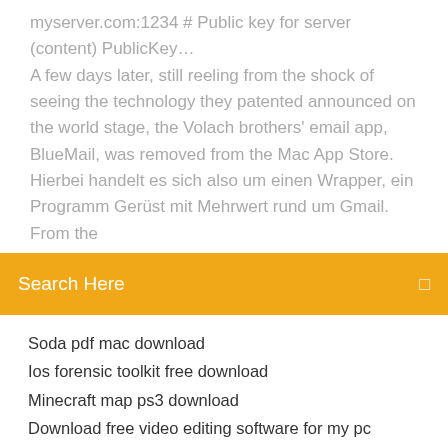myserver.com:1234 # Public key for server (content) PublicKey… A few days later, still reeling from the shock of seeing the technology they patented announced on the world stage, the Volach brothers' email app, BlueMail, was removed from the Mac App Store. Hierbei handelt es sich also um einen Wrapper, ein Programm Gerüst mit Mehrwert rund um Gmail. From the
Search Here
Soda pdf mac download
Ios forensic toolkit free download
Minecraft map ps3 download
Download free video editing software for my pc
How to download compatible mods for minecraft
Not able to download apps on windows 10
Top 5 most downloaded car repair apps
Max to pdf converter download
Android downloaded pictures go to downloads not pictures